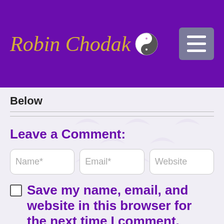Robin Chodak
Below
Leave a Comment:
Name* | Email* | Website
Save my name, email, and website in this browser for the next time I comment.
Comment